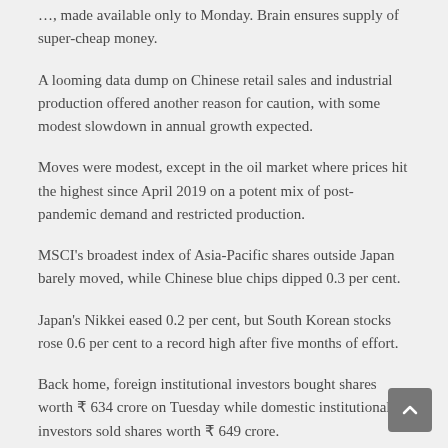…, made available only to Monday. Brain ensures supply of super-cheap money.
A looming data dump on Chinese retail sales and industrial production offered another reason for caution, with some modest slowdown in annual growth expected.
Moves were modest, except in the oil market where prices hit the highest since April 2019 on a potent mix of post-pandemic demand and restricted production.
MSCI's broadest index of Asia-Pacific shares outside Japan barely moved, while Chinese blue chips dipped 0.3 per cent.
Japan's Nikkei eased 0.2 per cent, but South Korean stocks rose 0.6 per cent to a record high after five months of effort.
Back home, foreign institutional investors bought shares worth ₹ 634 crore on Tuesday while domestic institutional investors sold shares worth ₹ 649 crore.
Coal India will be in focus after the company said that it will reduce 5 per cent of its manpower each year for next 5-10 years.